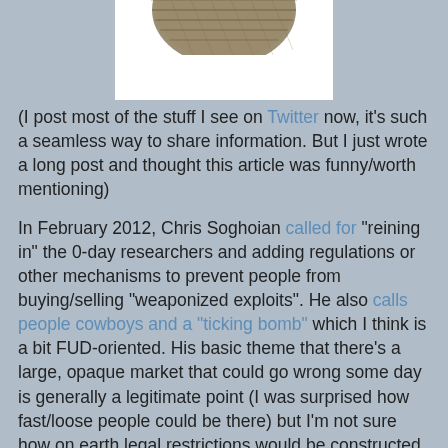[Figure (photo): Partial image of a metal mesh or chainmail object on a white background, cropped at the top of the page.]
(I post most of the stuff I see on Twitter now, it's such a seamless way to share information. But I just wrote a long post and thought this article was funny/worth mentioning)
In February 2012, Chris Soghoian called for "reining in" the 0-day researchers and adding regulations or other mechanisms to prevent people from buying/selling "weaponized exploits". He also calls people cowboys and a "ticking bomb" which I think is a bit FUD-oriented. His basic theme that there's a large, opaque market that could go wrong some day is generally a legitimate point (I was surprised how fast/loose people could be there) but I'm not sure how on earth legal restrictions would be constructed to do that effectively. The biggest problem out there now is the lack of transparency and trust between buyers and sellers... if it was brought to light buyers like Google and Facebook could continue to improve their products, commercial vendors can get what they are looking for and researchers could be paid for their work. Hard to picture some concrete